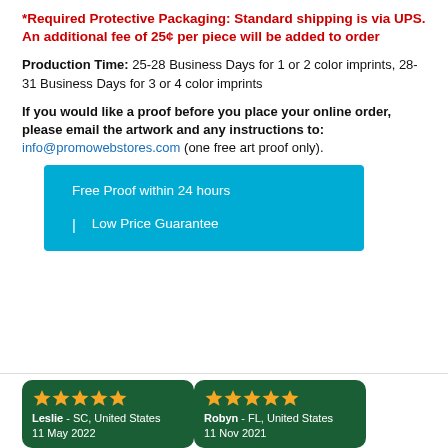*Required Protective Packaging: Standard shipping is via UPS. An additional fee of 25¢ per piece will be added to order
Production Time: 25-28 Business Days for 1 or 2 color imprints, 28-31 Business Days for 3 or 4 color imprints
If you would like a proof before you place your online order, please email the artwork and any instructions to: info@promowebstores.com (one free art proof only).
[Figure (infographic): Blue box with white text listing: Free Proof within 24 hours | Low Price Guarantee]
[Figure (infographic): Review card for Leslie - SC, United States, 11 May 2022, 5 gold stars, dark green background]
[Figure (infographic): Review card for Robyn - FL, United States, 11 Nov 2021, 5 gold stars, dark green background]